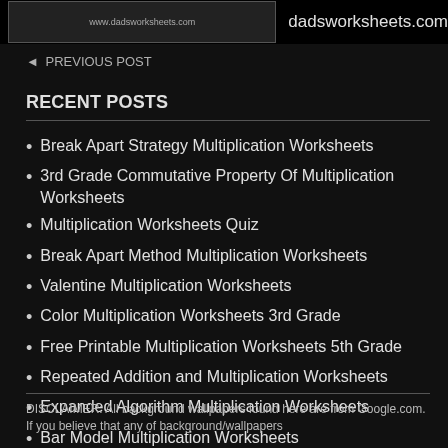[Figure (screenshot): Thumbnail image of a worksheet from dadsworksheets.com shown in the top-left, with site URL text to the right]
◄ PREVIOUS POST
RECENT POSTS
Break Apart Strategy Multiplication Worksheets
3rd Grade Commutative Property Of Multiplication Worksheets
Multiplication Worksheets Quiz
Break Apart Method Multiplication Worksheets
Valentine Multiplication Worksheets
Color Multiplication Worksheets 3rd Grade
Free Printable Multiplication Worksheets 5th Grade
Repeated Addition and Multiplication Worksheets
Expanded Algorithm Multiplication Worksheets
Bar Model Multiplication Worksheets
DISCLAIMER: All background wallpapers found here are from Google.com. If you believe that any of background/wallpapers